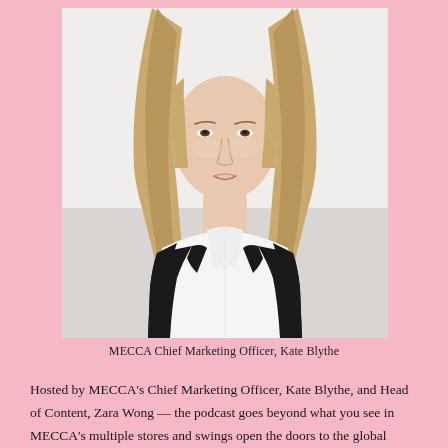[Figure (photo): Portrait photo of a blonde woman wearing a black blazer over a white top, against a light background. She is MECCA Chief Marketing Officer Kate Blythe.]
MECCA Chief Marketing Officer, Kate Blythe
Hosted by MECCA's Chief Marketing Officer, Kate Blythe, and Head of Content, Zara Wong — the podcast goes beyond what you see in MECCA's multiple stores and swings open the doors to the global beauty industry and MECCA's network of friends, founders and collaborators. Kate and Zara bring a huge wealth of content experience to MECCA Talks, with Kate previously holding roles in London as Chief Content Officer for